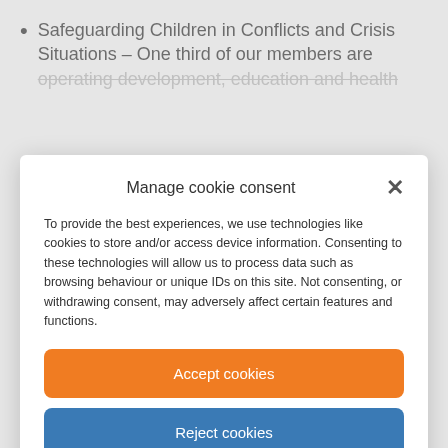Safeguarding Children in Conflicts and Crisis Situations – One third of our members are operating development, education and health
Manage cookie consent
To provide the best experiences, we use technologies like cookies to store and/or access device information. Consenting to these technologies will allow us to process data such as browsing behaviour or unique IDs on this site. Not consenting, or withdrawing consent, may adversely affect certain features and functions.
Accept cookies
Reject cookies
View preferences
Cookie Policy   Privacy Statement